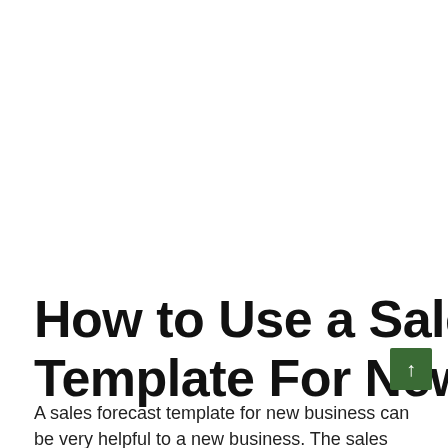How to Use a Sales Forecast Template For New Business
A sales forecast template for new business can be very helpful to a new business. The sales forecast template will give you a